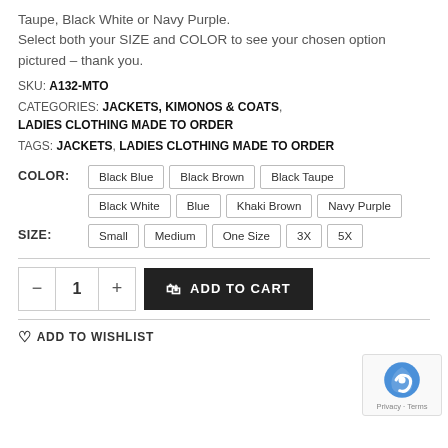Taupe, Black White or Navy Purple.
Select both your SIZE and COLOR to see your chosen option pictured – thank you.
SKU: A132-MTO
CATEGORIES: JACKETS, KIMONOS & COATS, LADIES CLOTHING MADE TO ORDER
TAGS: JACKETS, LADIES CLOTHING MADE TO ORDER
COLOR: Black Blue, Black Brown, Black Taupe, Black White, Blue, Khaki Brown, Navy Purple
SIZE: Small, Medium, One Size, 3X, 5X
ADD TO CART
ADD TO WISHLIST